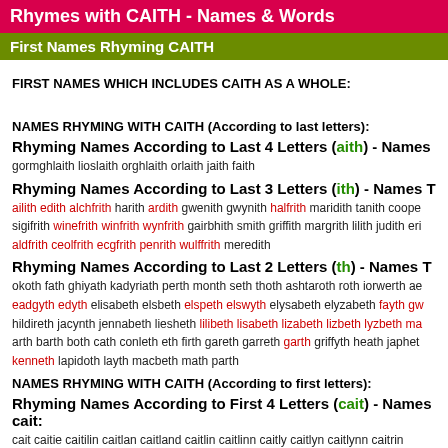Rhymes with CAITH - Names & Words
First Names Rhyming CAITH
FIRST NAMES WHICH INCLUDES CAITH AS A WHOLE:
NAMES RHYMING WITH CAITH (According to last letters):
Rhyming Names According to Last 4 Letters (aith) - Names
gormghlaith lioslaith orghlaith orlaith jaith faith
Rhyming Names According to Last 3 Letters (ith) - Names T
ailith edith alchfrith harith ardith gwenith gwynith halfrith maridith tanith coope sigifrith winefrith winfrith wynfrith gairbhith smith griffith margrith lilith judith eri aldfrith ceolfrith ecgfrith penrith wulffrith meredith
Rhyming Names According to Last 2 Letters (th) - Names T
okoth fath ghiyath kadyriath perth month seth thoth ashtaroth roth iorwerth ae eadgyth edyth elisabeth elsbeth elspeth elswyth elysabeth elyzabeth fayth gw hildireth jacynth jennabeth liesheth lilibeth lisabeth lizabeth lizbeth lyzbeth ma arth barth both cath conleth eth firth gareth garreth garth griffyth heath japhet kenneth lapidoth layth macbeth math parth
NAMES RHYMING WITH CAITH (According to first letters):
Rhyming Names According to First 4 Letters (cait) - Names cait:
cait caitie caitilin caitlan caitland caitlin caitlinn caitly caitlyn caitlynn caitrin
Rhyming Names According to First 3 Letters (cai) - Names cai: